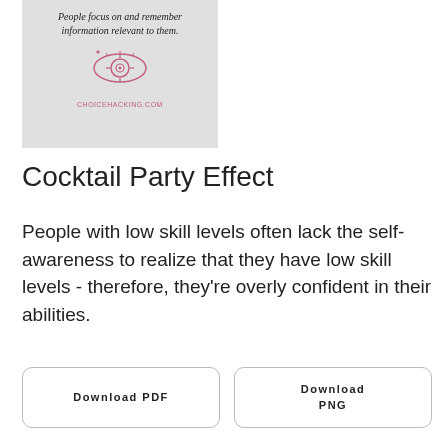[Figure (illustration): Gray card with italic text 'People focus on and remember information relevant to them.' above a pink line-art icon of an eye with a target/crosshair, and the URL CHOICEHACKING.COM below.]
Cocktail Party Effect
People with low skill levels often lack the self-awareness to realize that they have low skill levels - therefore, they're overly confident in their abilities.
Download PDF
Download PNG